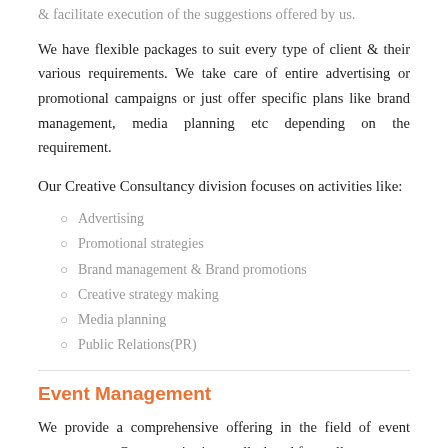& facilitate execution of the suggestions offered by us.
We have flexible packages to suit every type of client & their various requirements. We take care of entire advertising or promotional campaigns or just offer specific plans like brand management, media planning etc depending on the requirement.
Our Creative Consultancy division focuses on activities like:
Advertising
Promotional strategies
Brand management & Brand promotions
Creative strategy making
Media planning
Public Relations(PR)
Event Management
We provide a comprehensive offering in the field of event management. Our expertise in a well-placed from all